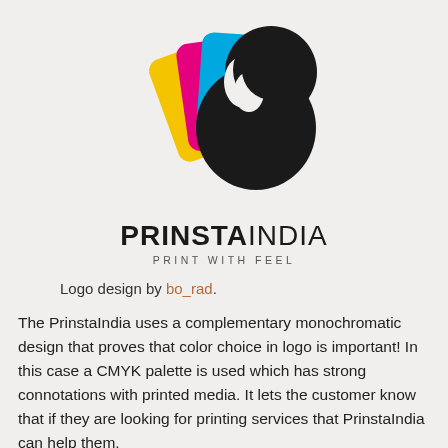[Figure (logo): PrinstaIndia logo: an elephant silhouette in black with CMYK colored card shapes (yellow, magenta, cyan) fanned behind it, above the brand name PRINSTAINDIA PRINT WITH FEEL]
Logo design by bo_rad.
The PrinstaIndia uses a complementary monochromatic design that proves that color choice in logo is important! In this case a CMYK palette is used which has strong connotations with printed media. It lets the customer know that if they are looking for printing services that PrinstaIndia can help them.